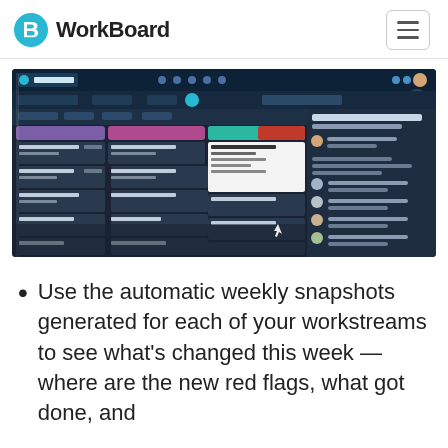WorkBoard
[Figure (screenshot): WorkBoard application interface showing a kanban-style board with multiple columns of task cards, a dark navigation header, and a side panel with user activity feed.]
Use the automatic weekly snapshots generated for each of your workstreams to see what's changed this week — where are the new red flags, what got done, and